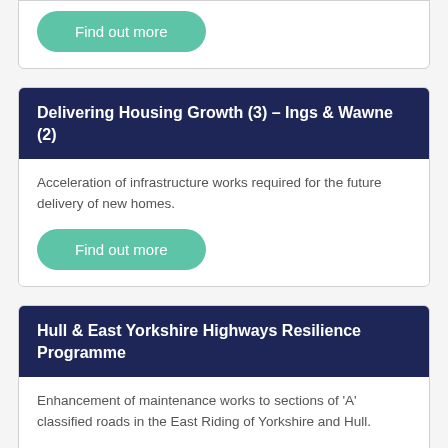Find out more
Delivering Housing Growth (3) – Ings & Wawne (2)
Acceleration of infrastructure works required for the future delivery of new homes.
Find out more
Hull & East Yorkshire Highways Resilience Programme
Enhancement of maintenance works to sections of 'A' classified roads in the East Riding of Yorkshire and Hull.